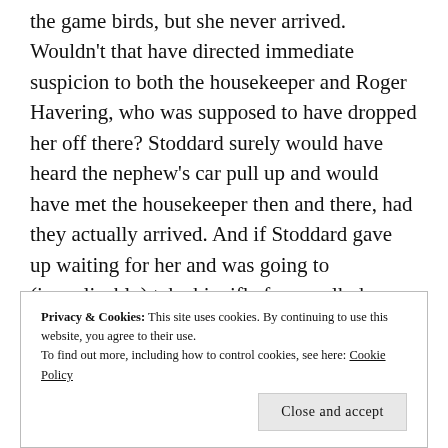the game birds, but she never arrived. Wouldn't that have directed immediate suspicion to both the housekeeper and Roger Havering, who was supposed to have dropped her off there? Stoddard surely would have heard the nephew's car pull up and would have met the housekeeper then and there, had they actually arrived. And if Stoddard gave up waiting for her and was going to (inexplicably) take his rifle for a walk down to Hunter's Lodge later, why not just bring that delivery of game birds with him? If Mrs. Middleton had been planning to walk back to Hunter's Lodge herself with them, they couldn't have been too heavy. In fact, this would have
Privacy & Cookies: This site uses cookies. By continuing to use this website, you agree to their use.
To find out more, including how to control cookies, see here: Cookie Policy